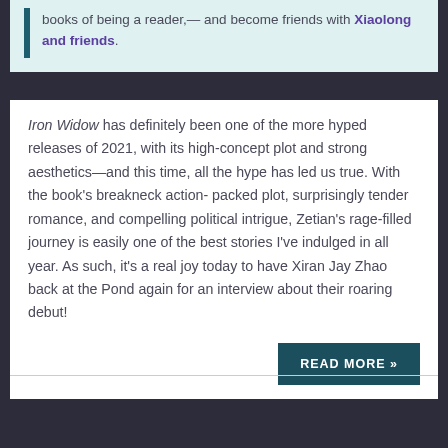books of being a reader,— and become friends with Xiaolong and friends.
Iron Widow has definitely been one of the more hyped releases of 2021, with its high-concept plot and strong aesthetics—and this time, all the hype has led us true. With the book's breakneck action-packed plot, surprisingly tender romance, and compelling political intrigue, Zetian's rage-filled journey is easily one of the best stories I've indulged in all year. As such, it's a real joy today to have Xiran Jay Zhao back at the Pond again for an interview about their roaring debut!
READ MORE »